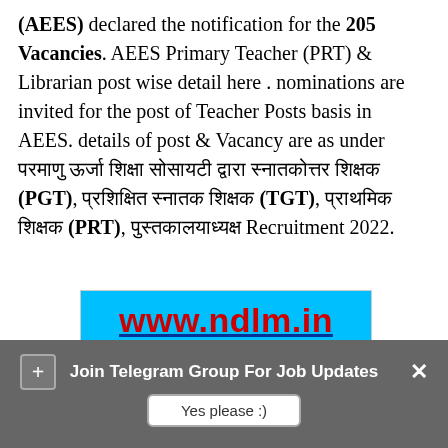(AEES) declared the notification for the 205 Vacancies. AEES Primary Teacher (PRT) & Librarian post wise detail here . nominations are invited for the post of Teacher Posts basis in AEES. details of post & Vacancy are as under परमाणु ऊर्जा शिक्षा सोसायटी द्वारा स्नातकोत्तर शिक्षक (PGT), प्रशिक्षित स्नातक शिक्षक (TGT), प्राथमिक शिक्षक (PRT), पुस्तकालयाध्यक्ष Recruitment 2022.
[Figure (infographic): Advertisement banner for www.ndlm.in showing AEES Teacher Recruitment 2022 Starting Date – 21 May 2022, with cyan background and dark blue/red text]
Join Telegram Group For Job Updates
Yes please :)